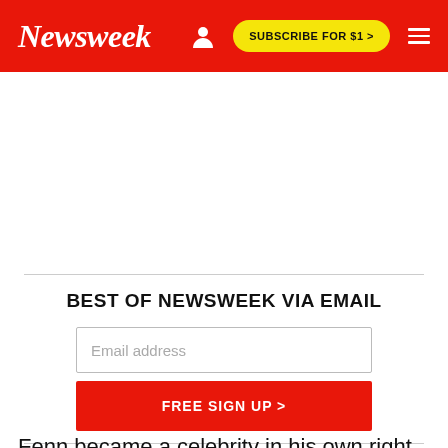Newsweek | SUBSCRIBE FOR $1 >
BEST OF NEWSWEEK VIA EMAIL
Email address
FREE SIGN UP >
Fenn became a celebrity in his own right, feted